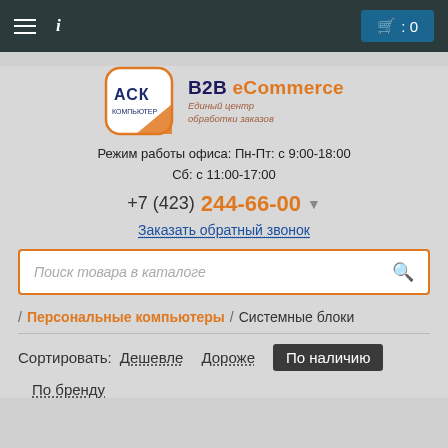Navigation bar with menu icon, info icon, and cart (0)
[Figure (logo): ASK company logo with shield shape and ACK text, alongside B2B eCommerce branding and subtitle 'Единый центр обработки заказов']
Режим работы офиса: Пн-Пт: с 9:00-18:00
Сб: с 11:00-17:00
+7 (423) 244-66-00
Заказать обратный звонок
Поиск товара в каталоге
/ Персональные компьютеры / Системные блоки
Сортировать: Дешевле  Дороже  По наличию
По бренду